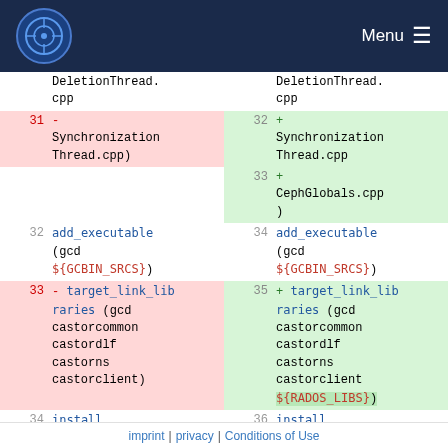Menu (navigation bar with logo)
| line-old | diff-old | line-new | diff-new |
| --- | --- | --- | --- |
|  | DeletionThread.cpp |  | DeletionThread.cpp |
| 31 | - SynchronizationThread.cpp) | 32 | + SynchronizationThread.cpp |
|  |  | 33 | + CephGlobals.cpp) |
| 32 | add_executable (gcd ${GCBIN_SRCS}) | 34 | add_executable (gcd ${GCBIN_SRCS}) |
| 33 | - target_link_libraries (gcd castorcommon castordlf castorns castorclient) | 35 | + target_link_libraries (gcd castorcommon castordlf castorns castorclient ${RADOS_LIBS}) |
| 34 | install (TARGETS gcd | 36 | install (TARGETS gcd |
imprint | privacy | Conditions of Use